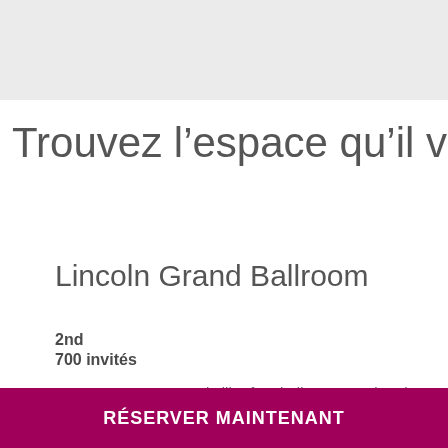Trouvez l’espace qu’il vous faut
Lincoln Grand Ballroom
2nd
700 invités
740 square meters and pillar-free ballroom, can break
RÉSERVER MAINTENANT